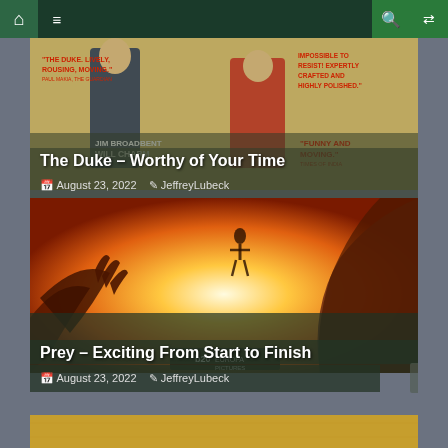Navigation bar with home, menu, search, and shuffle icons
[Figure (screenshot): Movie poster card for 'The Duke' showing two people in period costume with review quotes: 'THE DUKE. LIVELY, ROUSING, MOVING.' and 'IMPOSSIBLE TO RESIST! EXPERTLY CRAFTED AND HIGHLY POLISHED.' and 'FUNNY AND MOVING.' Yellow-toned background.]
The Duke – Worthy of Your Time
August 23, 2022   JeffreyLubeck
[Figure (screenshot): Movie poster card for 'Prey' showing dramatic fire/light imagery with reaching hands in warm orange tones, a figure silhouetted against bright light.]
Prey – Exciting From Start to Finish
August 23, 2022   JeffreyLubeck